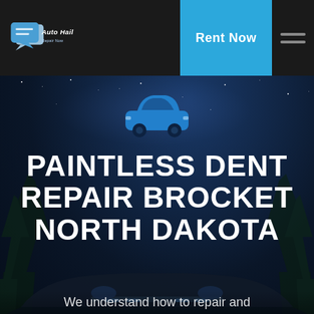[Figure (logo): Auto Hail Repair Now logo with speech bubble and car icon, white and blue on dark background, with stylized italic text 'Auto Hail Repair Now']
Rent Now
[Figure (illustration): Blue car icon silhouette against a dark starry night sky background with tree silhouettes and a muscle car partially visible at bottom]
PAINTLESS DENT REPAIR BROCKET NORTH DAKOTA
We understand how to repair and